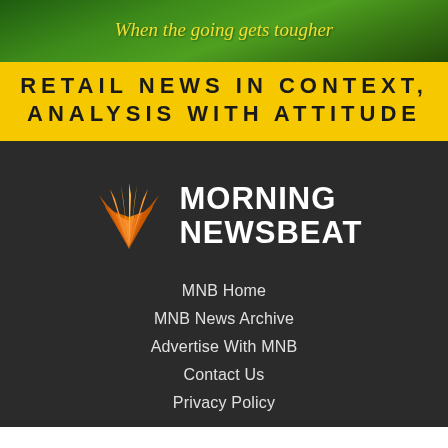[Figure (illustration): Green background banner with cursive yellow text reading 'When the going gets tougher']
RETAIL NEWS IN CONTEXT, ANALYSIS WITH ATTITUDE
[Figure (logo): Morning Newsbeat logo with orange sunburst/rays icon on the left and white bold text MORNING NEWSBEAT on the right]
MNB Home
MNB News Archive
Advertise With MNB
Contact Us
Privacy Policy